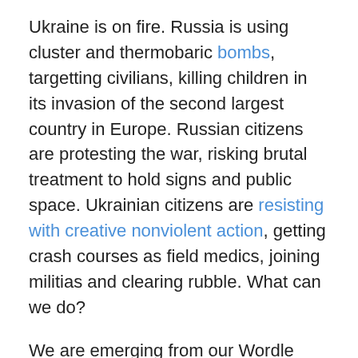Ukraine is on fire. Russia is using cluster and thermobaric bombs, targetting civilians, killing children in its invasion of the second largest country in Europe. Russian citizens are protesting the war, risking brutal treatment to hold signs and public space. Ukrainian citizens are resisting with creative nonviolent action, getting crash courses as field medics, joining militias and clearing rubble. What can we do?
We are emerging from our Wordle fugues to reframe Facebook and Instagram profile pictures with yellow and blue flags to signal our solidarity with the Ukrainian people. But can't we do more? Throughout the United States, in communities with sizable Ukrainian American communities, we are gathering at churches in candle light vigils and prayer services. Those of us who can are raising